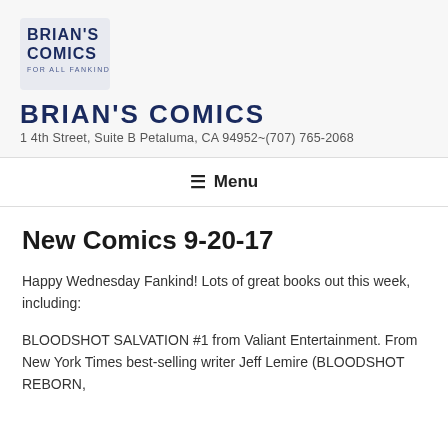[Figure (logo): Brian's Comics logo - text logo with 'BRIAN'S COMICS FOR ALL FANKIND' in blue block letters]
BRIAN'S COMICS
1 4th Street, Suite B Petaluma, CA 94952~(707) 765-2068
≡ Menu
New Comics 9-20-17
Happy Wednesday Fankind! Lots of great books out this week, including:
BLOODSHOT SALVATION #1 from Valiant Entertainment. From New York Times best-selling writer Jeff Lemire (BLOODSHOT REBORN,